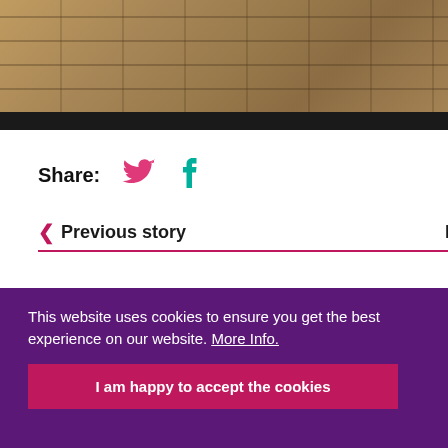[Figure (photo): Close-up photo of beehive frames with bees and honeycomb structure, wooden frames visible]
Share:
[Figure (other): Twitter bird icon in pink/magenta color]
[Figure (other): Facebook 'f' icon in teal/green color]
< Previous story
Next story >
Fullcure
This website uses cookies to ensure you get the best experience on our website. More Info.
I am happy to accept the cookies